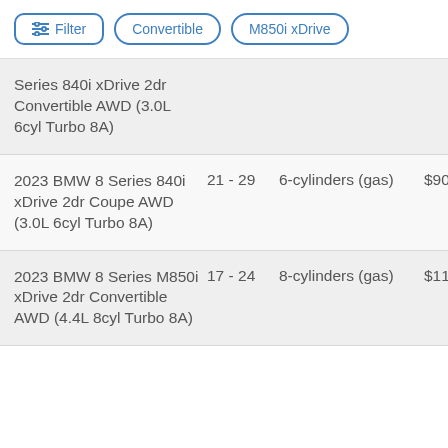Filter | Convertible | M850i xDrive
| Model | MPG | Engine | Price |
| --- | --- | --- | --- |
| Series 840i xDrive 2dr Convertible AWD (3.0L 6cyl Turbo 8A) |  |  |  |
| 2023 BMW 8 Series 840i xDrive 2dr Coupe AWD (3.0L 6cyl Turbo 8A) | 21 - 29 | 6-cylinders (gas) | $90,94 |
| 2023 BMW 8 Series M850i xDrive 2dr Convertible AWD (4.4L 8cyl Turbo 8A) | 17 - 24 | 8-cylinders (gas) | $115,7 |